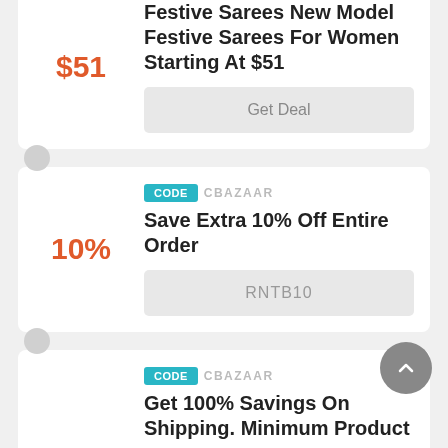Festive Sarees New Model Festive Sarees For Women Starting At $51
$51
Get Deal
CODE  CBAZAAR
Save Extra 10% Off Entire Order
10%
RNTB10
CODE  CBAZAAR
Get 100% Savings On Shipping. Minimum Product